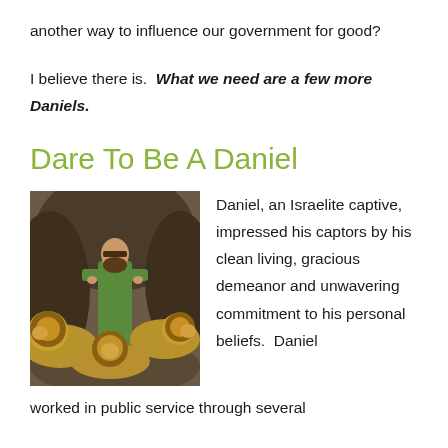another way to influence our government for good?
I believe there is. What we need are a few more Daniels.
Dare To Be A Daniel
[Figure (illustration): Painting of Daniel standing among lions in a rocky den, wearing a green robe]
Daniel, an Israelite captive, impressed his captors by his clean living, gracious demeanor and unwavering commitment to his personal beliefs. Daniel worked in public service through several